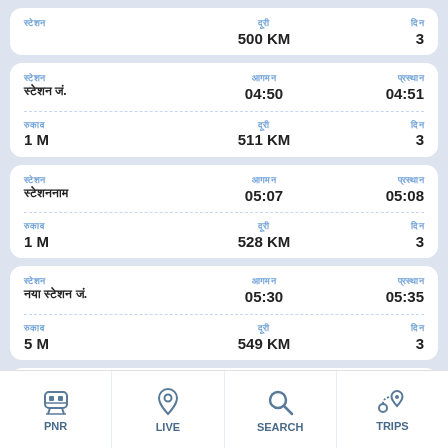| Station | Time | Day |
| --- | --- | --- |
| (station) | 500 KM | 3 |
| Station | Time | Arrival |
| --- | --- | --- |
| (station Jn.) | 04:50 | 04:51 |
| 1 M | 511 KM | 3 |
| Station | Time | Arrival |
| --- | --- | --- |
| (station) | 05:07 | 05:08 |
| 1 M | 528 KM | 3 |
| Station | Time | Arrival |
| --- | --- | --- |
| (station Jn.) | 05:30 | 05:35 |
| 5 M | 549 KM | 3 |
[Figure (screenshot): Mobile app bottom navigation bar with icons: PNR, LIVE, SEARCH, TRIPS]